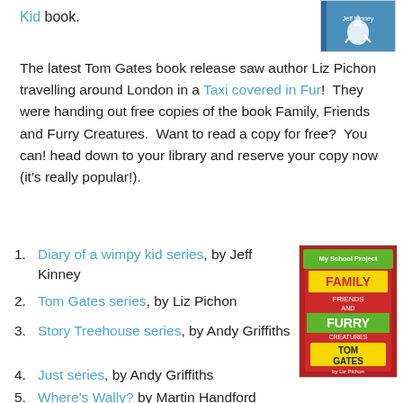Kid book.
[Figure (illustration): Book cover thumbnail showing a cartoon illustration, blue background with a bird-like character. Text partially visible: Jeff Kinney.]
The latest Tom Gates book release saw author Liz Pichon travelling around London in a Taxi covered in Fur! They were handing out free copies of the book Family, Friends and Furry Creatures. Want to read a copy for free? You can! head down to your library and reserve your copy now (it's really popular!).
Diary of a wimpy kid series, by Jeff Kinney
Tom Gates series, by Liz Pichon
Story Treehouse series, by Andy Griffiths
[Figure (illustration): Book cover of Tom Gates: Family, Friends and Furry Creatures by Liz Pichon. Colorful cover with doodle-style art, red background, showing the title text in yellow and green.]
Just series, by Andy Griffiths
Where's Wally? by Martin Handford